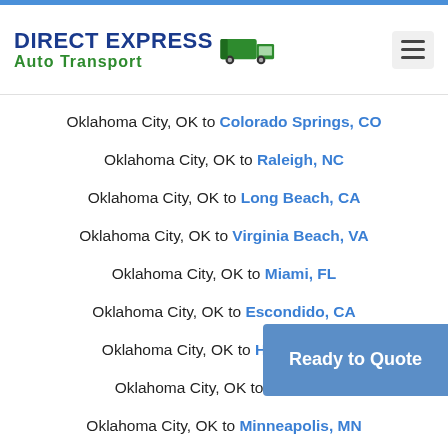DIRECT EXPRESS Auto Transport
Oklahoma City, OK to Colorado Springs, CO
Oklahoma City, OK to Raleigh, NC
Oklahoma City, OK to Long Beach, CA
Oklahoma City, OK to Virginia Beach, VA
Oklahoma City, OK to Miami, FL
Oklahoma City, OK to Escondido, CA
Oklahoma City, OK to Houston, TX
Oklahoma City, OK to Oakland, [CA]
Oklahoma City, OK to Minneapolis, MN
Ready to Quote